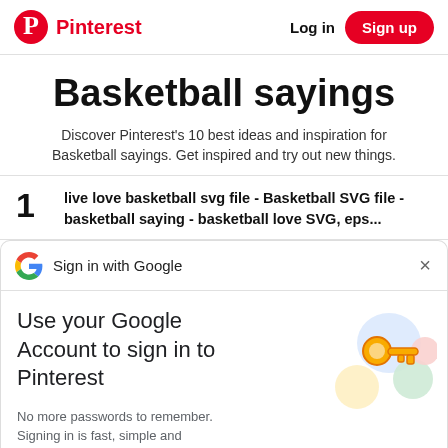Pinterest  Log in  Sign up
Basketball sayings
Discover Pinterest's 10 best ideas and inspiration for Basketball sayings. Get inspired and try out new things.
1  live love basketball svg file - Basketball SVG file - basketball saying - basketball love SVG, eps...
[Figure (screenshot): Google Sign in with Google dialog card with Google G logo, close X button, headline 'Use your Google Account to sign in to Pinterest', subtext 'No more passwords to remember. Signing in is fast, simple and secure.', Google keys illustration, and a Continue button.]